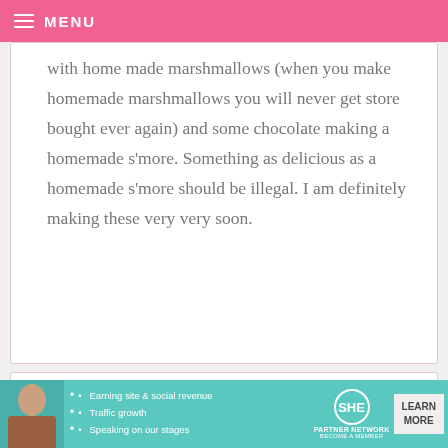MENU
with home made marshmallows (when you make homemade marshmallows you will never get store bought ever again) and some chocolate making a homemade s’more. Something as delicious as a homemade s’more should be illegal. I am definitely making these very very soon.
RICHEL — SEPTEMBER 13, 2011 @ 1:16 PM  REPLY
[Figure (other): Advertisement banner for SHE Partner Network with bullet points: Earning site & social revenue, Traffic growth, Speaking on our stages. Includes LEARN MORE button.]